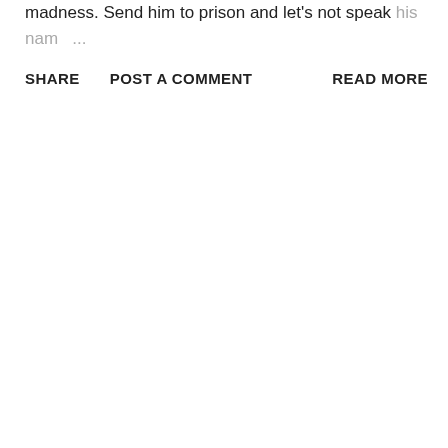madness. Send him to prison and let's not speak his nam ...
SHARE   POST A COMMENT   READ MORE